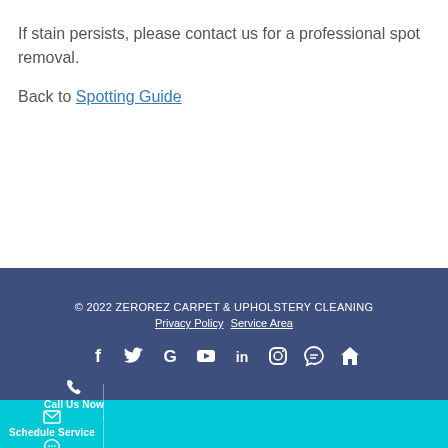If stain persists, please contact us for a professional spot removal.
Back to Spotting Guide
© 2022 ZEROREZ CARPET & UPHOLSTERY CLEANING
Privacy Policy  Service Area
[Figure (other): Social media icons row: Facebook, Twitter, Google, YouTube, LinkedIn, Instagram, Chat, Home]
Call Us Now  Schedule Service  Text Us Now